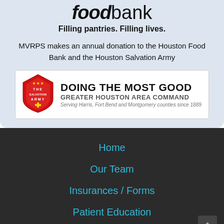[Figure (logo): Houston Food Bank logo with bold italic 'food' and regular 'bank' text]
Filling pantries. Filling lives.
MVRPS makes an annual donation to the Houston Food Bank and the Houston Salvation Army
[Figure (logo): The Salvation Army shield logo with 'Doing the Most Good - Greater Houston Area Command - Serving Harris, Fort Bend and Montgomery counties since 1889']
Home
Our Team
Insurances / Forms
Patient Education
Research and Education